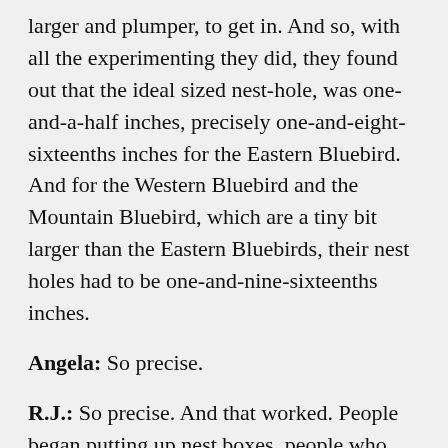larger and plumper, to get in. And so, with all the experimenting they did, they found out that the ideal sized nest-hole, was one-and-a-half inches, precisely one-and-eight-sixteenths inches for the Eastern Bluebird. And for the Western Bluebird and the Mountain Bluebird, which are a tiny bit larger than the Eastern Bluebirds, their nest holes had to be one-and-nine-sixteenths inches.
Angela: So precise.
R.J.: So precise. And that worked. People began putting up nest boxes, people who lived out in the suburbs, or in the country, or on a ranch or a farm or something like that, scattering nesting boxes around their property. And the North American Bluebird Society also asked people to